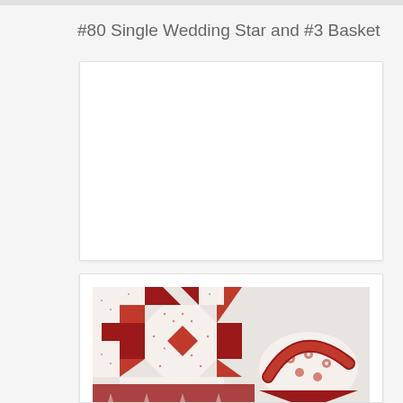#80 Single Wedding Star and #3 Basket
[Figure (other): Empty white box placeholder for quilt pattern image]
[Figure (photo): Photograph of a red and white quilt block showing the Single Wedding Star pattern alongside a #3 Basket pattern, made with red solid and red dotted fabric on white background]